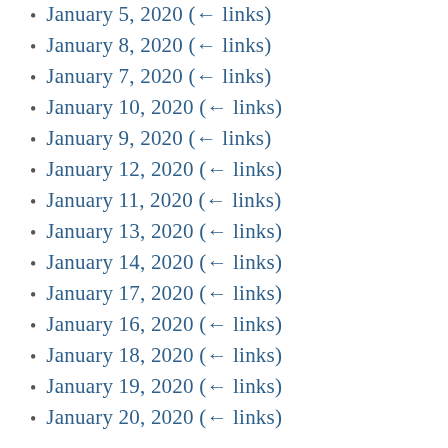January 5, 2020  (← links)
January 8, 2020  (← links)
January 7, 2020  (← links)
January 10, 2020  (← links)
January 9, 2020  (← links)
January 12, 2020  (← links)
January 11, 2020  (← links)
January 13, 2020  (← links)
January 14, 2020  (← links)
January 17, 2020  (← links)
January 16, 2020  (← links)
January 18, 2020  (← links)
January 19, 2020  (← links)
January 20, 2020  (← links)